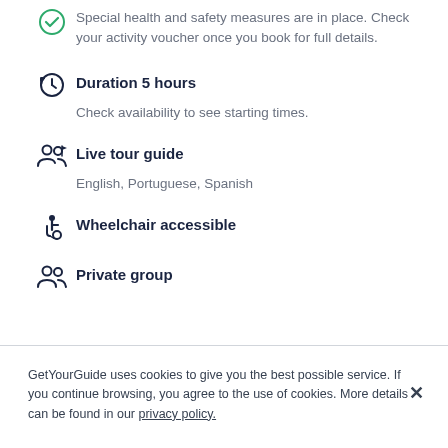Special health and safety measures are in place. Check your activity voucher once you book for full details.
Duration 5 hours
Check availability to see starting times.
Live tour guide
English, Portuguese, Spanish
Wheelchair accessible
Private group
GetYourGuide uses cookies to give you the best possible service. If you continue browsing, you agree to the use of cookies. More details can be found in our privacy policy.